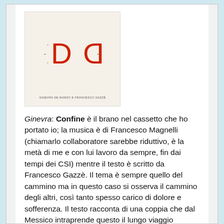[Figure (illustration): Album cover with beige/cream background showing two abstract red D-shaped bracket symbols with small marks, and small text at the bottom reading 'GINEVRA DE MARZO E FRANCESCO GAZZÈ']
Ginevra: Confine è il brano nel cassetto che ho portato io; la musica è di Francesco Magnelli (chiamarlo collaboratore sarebbe riduttivo, è la metà di me e con lui lavoro da sempre, fin dai tempi dei CSI) mentre il testo è scritto da Francesco Gazzè. Il tema è sempre quello del cammino ma in questo caso si osserva il cammino degli altri, così tanto spesso carico di dolore e sofferenza. Il testo racconta di una coppia che dal Messico intraprende questo il lungo viaggio sognando di arrivare negli Stati Uniti, superando il muro. È un testo molto poetico e pieno di umanità su questo tema, dove si